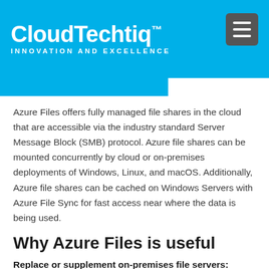CloudTechtiq™ — INNOVATION AND EXCELLENCE
Azure Files offers fully managed file shares in the cloud that are accessible via the industry standard Server Message Block (SMB) protocol. Azure file shares can be mounted concurrently by cloud or on-premises deployments of Windows, Linux, and macOS. Additionally, Azure file shares can be cached on Windows Servers with Azure File Sync for fast access near where the data is being used.
Why Azure Files is useful
Replace or supplement on-premises file servers: